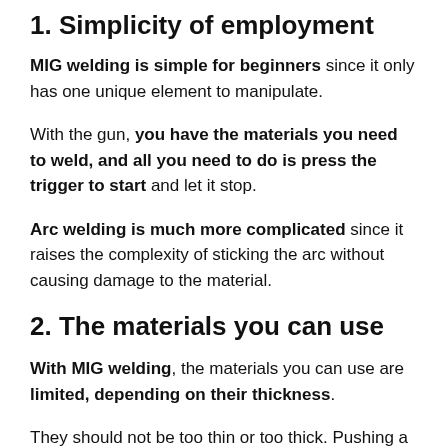1. Simplicity of employment
MIG welding is simple for beginners since it only has one unique element to manipulate.
With the gun, you have the materials you need to weld, and all you need to do is press the trigger to start and let it stop.
Arc welding is much more complicated since it raises the complexity of sticking the arc without causing damage to the material.
2. The materials you can use
With MIG welding, the materials you can use are limited, depending on their thickness.
They should not be too thin or too thick. Pushing a MIG